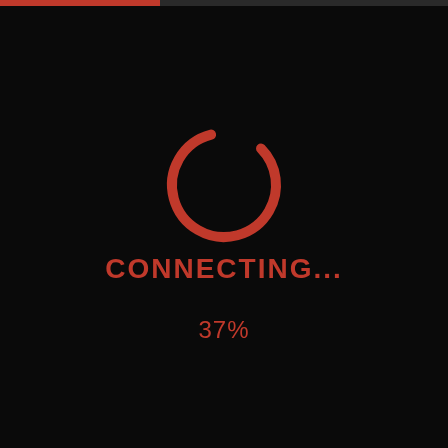[Figure (infographic): Black background screen showing a red circular loading/spinner arc (approximately 300 degrees, open at bottom-left), with the text CONNECTING... and 37% displayed in red below it. A thin horizontal progress bar appears at the very top of the image, with a red filled portion on the left side against a dark grey background.]
CONNECTING...
37%